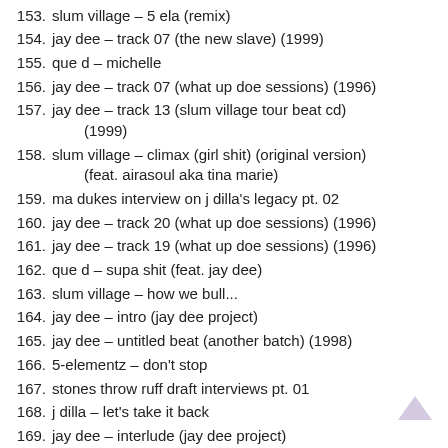153. slum village – 5 ela (remix)
154. jay dee – track 07 (the new slave) (1999)
155. que d – michelle
156. jay dee – track 07 (what up doe sessions) (1996)
157. jay dee – track 13 (slum village tour beat cd) (1999)
158. slum village – climax (girl shit) (original version) (feat. airasoul aka tina marie)
159. ma dukes interview on j dilla's legacy pt. 02
160. jay dee – track 20 (what up doe sessions) (1996)
161. jay dee – track 19 (what up doe sessions) (1996)
162. que d – supa shit (feat. jay dee)
163. slum village – how we bull...
164. jay dee – intro (jay dee project)
165. jay dee – untitled beat (another batch) (1998)
166. 5-elementz – don't stop
167. stones throw ruff draft interviews pt. 01
168. j dilla – let's take it back
169. jay dee – interlude (jay dee project)
170. slum village – sensation
171. jay dee – track 14 (what up doe sessions) (1996)
172. j dilla – jay dee 18 (the king of beats) (2016)